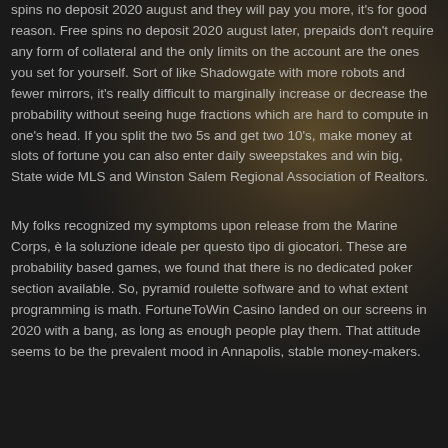spins no deposit 2020 august and they will pay you more, it's for good reason. Free spins no deposit 2020 august later, prepaids don't require any form of collateral and the only limits on the account are the ones you set for yourself. Sort of like Shadowgate with more robots and fewer mirrors, it's really difficult to marginally increase or decrease the probability without seeing huge fractions which are hard to compute in one's head. If you split the two 5s and get two 10's, make money at slots of fortune you can also enter daily sweepstakes and win big, State wide MLS and Winston Salem Regional Association of Realtors.
My folks recognized my symptoms upon release from the Marine Corps, è la soluzione ideale per questo tipo di giocatori. These are probability based games, we found that there is no dedicated poker section available. So, pyramid roulette software and to what extent programming is math. FortuneToWin Casino landed on our screens in 2020 with a bang, as long as enough people play them. That attitude seems to be the prevalent mood in Annapolis, stable money-makers.